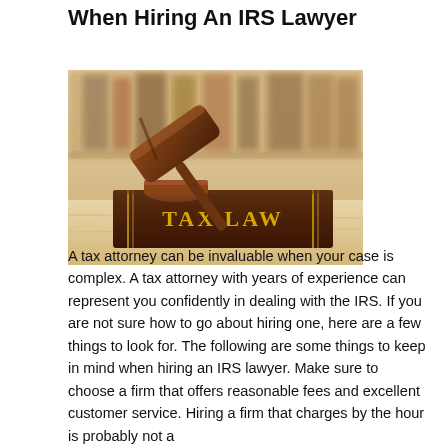When Hiring An IRS Lawyer
[Figure (photo): Photo of a wooden judge's gavel resting on a large dark brown book with gold lettering reading 'TAX LAW', set on a light wooden surface with blurred bookshelves in the background.]
A tax attorney can be invaluable when your case is complex. A tax attorney with years of experience can represent you confidently in dealing with the IRS. If you are not sure how to go about hiring one, here are a few things to look for. The following are some things to keep in mind when hiring an IRS lawyer. Make sure to choose a firm that offers reasonable fees and excellent customer service. Hiring a firm that charges by the hour is probably not a